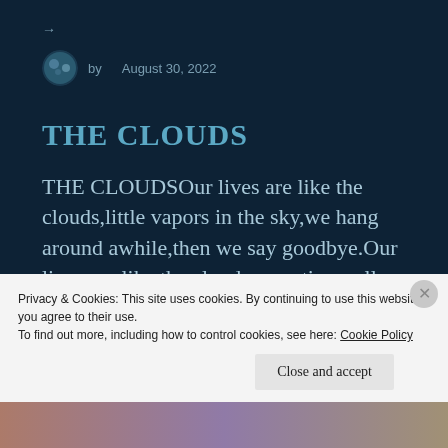→
by   August 30, 2022
THE CLOUDS
THE CLOUDSOur lives are like the clouds,little vapors in the sky,we hang around awhile,then we say goodbye.Our lives are like the clouds,sometimes all fluffy and white some times we
Privacy & Cookies: This site uses cookies. By continuing to use this website, you agree to their use.
To find out more, including how to control cookies, see here: Cookie Policy
Close and accept